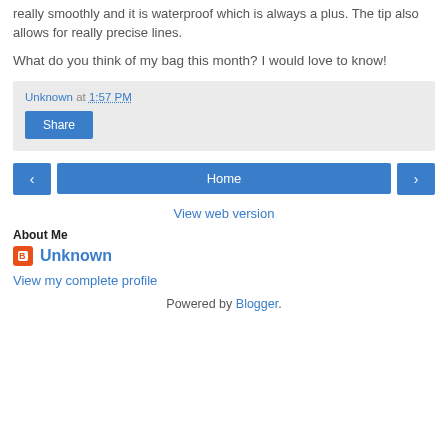really smoothly and it is waterproof which is always a plus. The tip also allows for really precise lines.
What do you think of my bag this month? I would love to know!
Unknown at 1:57 PM
Share
< Home >
View web version
About Me
Unknown
View my complete profile
Powered by Blogger.